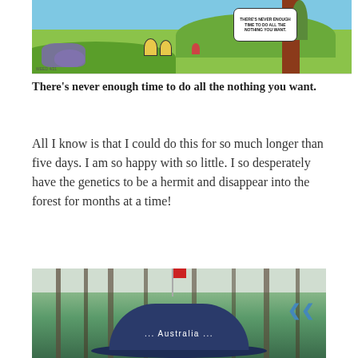[Figure (illustration): Calvin and Hobbes comic strip panel showing characters in a forest/outdoor scene with a speech bubble reading 'THERE'S NEVER ENOUGH TIME TO DO ALL THE NOTHING YOU WANT.']
There's never enough time to do all the nothing you want.
All I know is that I could do this for so much longer than five days. I am so happy with so little. I so desperately have the genetics to be a hermit and disappear into the forest for months at a time!
[Figure (photo): Person wearing a navy blue Australia hat in a forest setting with tall trees in the background.]